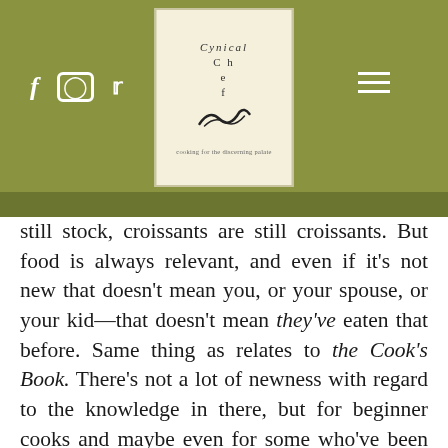[Figure (logo): Cynical Chef logo in a cream/beige bordered box with stylized text and scribble mark]
Social media icons (Facebook, Instagram, Twitter) and hamburger menu on olive/khaki green background header
y is not r than ten a rs ago. tock is still stock, croissants are still croissants. But food is always relevant, and even if it's not new that doesn't mean you, or your spouse, or your kid—that doesn't mean they've eaten that before. Same thing as relates to the Cook's Book. There's not a lot of newness with regard to the knowledge in there, but for beginner cooks and maybe even for some who've been in the industry for a while, I can almost guarantee there's going to be something in there that you didn't know. Even if it's just a